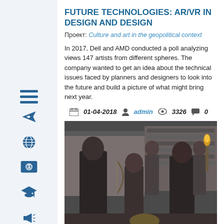FUTURE TECHNOLOGIES: AR/VR IN DESIGN AND DESIGN
Проект: Culture and art in the geopolitical context
In 2017, Dell and AMD conducted a poll analyzing views 147 artists from different spheres. The company wanted to get an idea about the technical issues faced by planners and designers to look into the future and build a picture of what might bring next year.
01-04-2018  admin  3326  0
[Figure (photo): Scene from a medieval-style setting showing characters with archery equipment, resembling a fantasy TV show scene.]